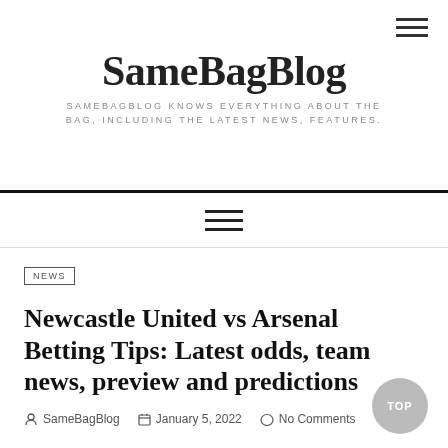SameBagBlog — SAMEBAGBLOG KNOWS EVERYTHING ABOUT THE BAG, INCLUDING THE LATEST NEWS, FEATURES.
NEWS
Newcastle United vs Arsenal Betting Tips: Latest odds, team news, preview and predictions
SameBagBlog   January 5, 2022   No Comments